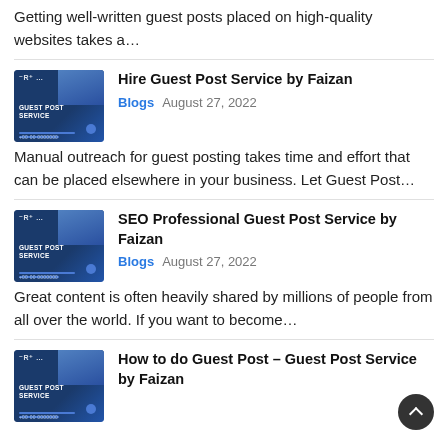Getting well-written guest posts placed on high-quality websites takes a…
[Figure (illustration): Thumbnail image for 'Hire Guest Post Service by Faizan' blog post — blue background with 'Guest Post Service' label and hand on keyboard graphic]
Hire Guest Post Service by Faizan
Blogs   August 27, 2022
Manual outreach for guest posting takes time and effort that can be placed elsewhere in your business. Let Guest Post…
[Figure (illustration): Thumbnail image for 'SEO Professional Guest Post Service by Faizan' blog post — blue background with 'Guest Post Service' label and hand on keyboard graphic]
SEO Professional Guest Post Service by Faizan
Blogs   August 27, 2022
Great content is often heavily shared by millions of people from all over the world. If you want to become…
[Figure (illustration): Thumbnail image for 'How to do Guest Post – Guest Post Service by Faizan' blog post — blue background with 'Guest Post Service' label and hand on keyboard graphic]
How to do Guest Post – Guest Post Service by Faizan